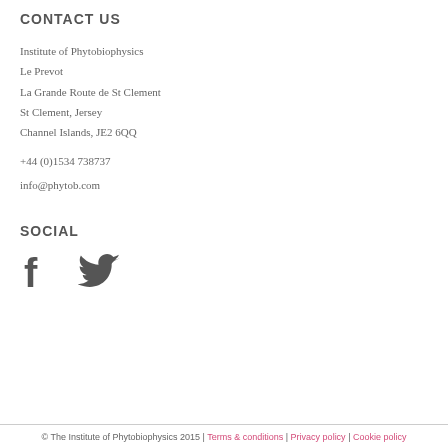CONTACT US
Institute of Phytobiophysics
Le Prevot
La Grande Route de St Clement
St Clement, Jersey
Channel Islands, JE2 6QQ
+44 (0)1534 738737
info@phytob.com
SOCIAL
[Figure (illustration): Social media icons: Facebook (f) and Twitter (bird) in dark grey]
© The Institute of Phytobiophysics 2015 | Terms & conditions | Privacy policy | Cookie policy